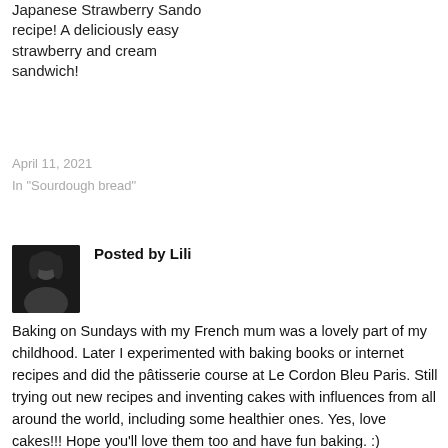Japanese Strawberry Sando recipe! A deliciously easy strawberry and cream sandwich!
April 11, 2021
In "Sourdough bread"
Posted by Lili
Baking on Sundays with my French mum was a lovely part of my childhood. Later I experimented with baking books or internet recipes and did the pâtisserie course at Le Cordon Bleu Paris. Still trying out new recipes and inventing cakes with influences from all around the world, including some healthier ones. Yes, love cakes!!! Hope you'll love them too and have fun baking. :)